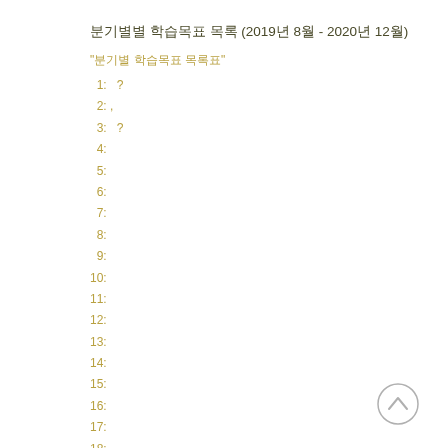분기별별 학습목표 목록 (2019년 8월 - 2020년 12월)
"분기별 학습목표 목록표"
1:   ?
2: ,
3:   ?
4:
5:
6:
7:
8:
9:
10:
11:
12:
13:
14:
15:
16:
17:
18:
19: